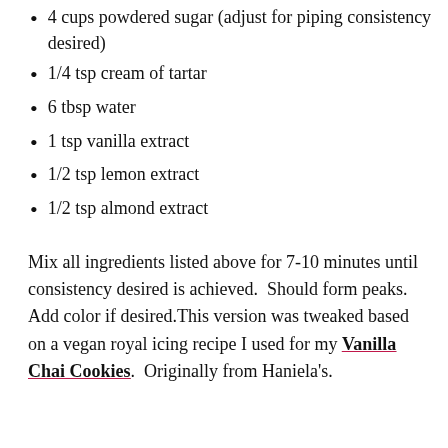4 cups powdered sugar (adjust for piping consistency desired)
1/4 tsp cream of tartar
6 tbsp water
1 tsp vanilla extract
1/2 tsp lemon extract
1/2 tsp almond extract
Mix all ingredients listed above for 7-10 minutes until consistency desired is achieved.  Should form peaks. Add color if desired.This version was tweaked based on a vegan royal icing recipe I used for my Vanilla Chai Cookies.  Originally from Haniela’s.